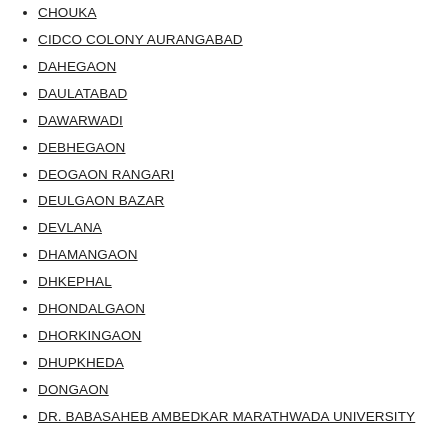CHOUKA
CIDCO COLONY AURANGABAD
DAHEGAON
DAULATABAD
DAWARWADI
DEBHEGAON
DEOGAON RANGARI
DEULGAON BAZAR
DEVLANA
DHAMANGAON
DHKEPHAL
DHONDALGAON
DHORKINGAON
DHUPKHEDA
DONGAON
DR. BABASAHEB AMBEDKAR MARATHWADA UNIVERSITY